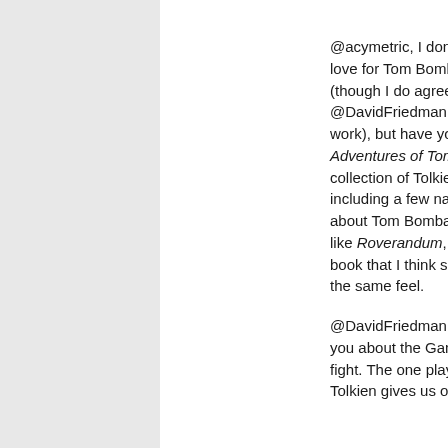[ + ]  801 comments since  1970-01-01 00:0
@acymetric, I don't really sh love for Tom Bombadil to tha (though I do agree with @DavidFriedman that he fits work), but have you read the Adventures of Tom Bombad collection of Tolkien's poetry including a few narrative ver about Tom Bombadil. You m like Roverandum, a Tolkien book that I think shares som the same feel.
@DavidFriedman, I totally a you about the Gandalf/Sarum fight. The one play-by-play e Tolkien gives us of a wizard' The almost Saru...